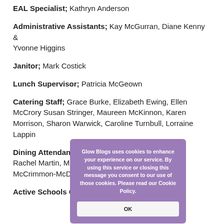EAL Specialist; Kathryn Anderson
Administrative Assistants; Kay McGurran, Diane Kenny & Yvonne Higgins
Janitor; Mark Costick
Lunch Supervisor; Patricia McGeown
Catering Staff; Grace Burke, Elizabeth Ewing, Ellen McCrory Susan Stringer, Maureen McKinnon, Karen Morrison, Sharon Warwick, Caroline Turnbull, Lorraine Lappin
Dining Attendant; Toria Barrowbell Cleaning Staff; Rachel Martin, Michelle Haughey, Andrea McCrimmon-McDaid, Hewitt
Active Schools Coordinator;